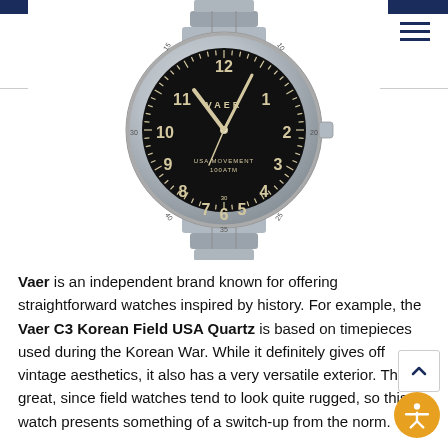[Figure (photo): A VAER C3 Korean Field USA Quartz watch with a black dial showing vintage-style numerals and hands, stainless steel case and bracelet. The dial reads VAER, USA MOVEMENT, 100ATM. The watch is shown from the front against a white background.]
Vaer is an independent brand known for offering straightforward watches inspired by history. For example, the Vaer C3 Korean Field USA Quartz is based on timepieces used during the Korean War. While it definitely gives off vintage aesthetics, it also has a very versatile exterior. This is great, since field watches tend to look quite rugged, so this watch presents something of a switch-up from the norm.